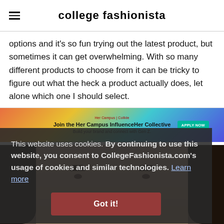college fashionista
options and it's so fun trying out the latest product, but sometimes it can get overwhelming. With so many different products to choose from it can be tricky to figure out what the heck a product actually does, let alone which one I should select.
[Figure (screenshot): Advertisement banner for Her Campus InfluenceHer Collective with colorful gradient background and 'APPLY NOW' button]
[Figure (photo): Close-up photo of a young woman with dark hair, partially obscured by cookie consent overlay]
This website uses cookies. By continuing to use this website, you consent to CollegeFashionista.com's usage of cookies and similar technologies. Learn more
Got it!